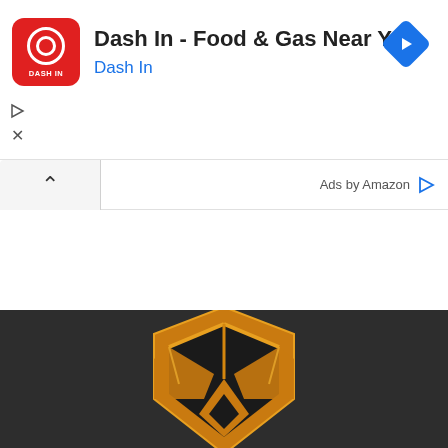[Figure (screenshot): Advertisement banner for 'Dash In - Food & Gas Near You' app. Shows a red square icon with DASH IN branding, app title in bold, subtitle 'Dash In' in blue, and a blue diamond navigation arrow on the right. Below is a control bar with a chevron up button on the left and 'Ads by Amazon' text with a play icon on the right.]
[Figure (logo): Partial view of a golden/orange metallic game logo or trophy icon on a dark charcoal background. The logo appears to be a stylized shield or emblem with angular geometric shapes in gold and black.]